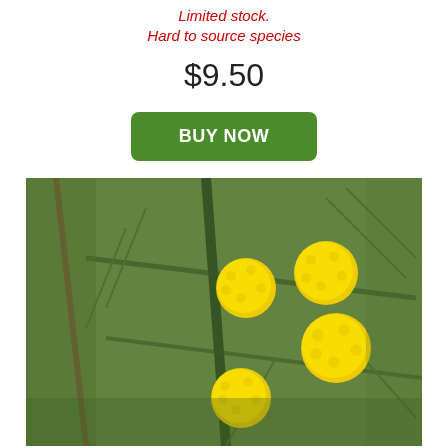Limited stock.
Hard to source species
$9.50
BUY NOW
[Figure (photo): Close-up photograph of yellow wattle (Acacia) flowers — small bright yellow spherical pompom blooms on green needle-like foliage, with a blurred green background]